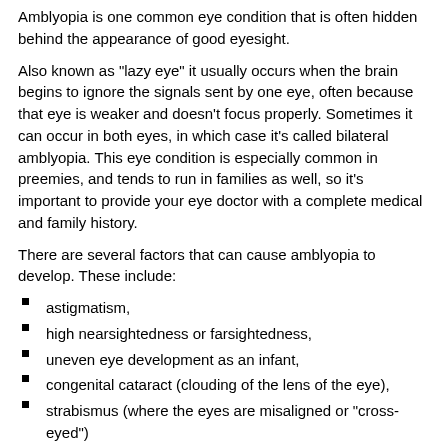Amblyopia is one common eye condition that is often hidden behind the appearance of good eyesight.
Also known as "lazy eye" it usually occurs when the brain begins to ignore the signals sent by one eye, often because that eye is weaker and doesn't focus properly. Sometimes it can occur in both eyes, in which case it's called bilateral amblyopia. This eye condition is especially common in preemies, and tends to run in families as well, so it's important to provide your eye doctor with a complete medical and family history.
There are several factors that can cause amblyopia to develop. These include:
astigmatism,
high nearsightedness or farsightedness,
uneven eye development as an infant,
congenital cataract (clouding of the lens of the eye),
strabismus (where the eyes are misaligned or "cross-eyed")